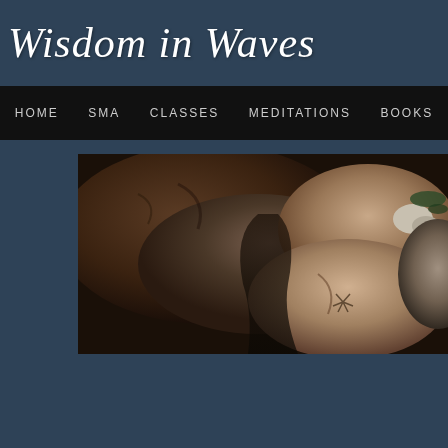Wisdom in Waves
HOME  SMA  CLASSES  MEDITATIONS  BOOKS
[Figure (photo): Close-up photograph of smooth river or beach rocks/boulders in dark earthy tones of brown, grey, and tan, with hints of green moss or algae, arranged naturally.]